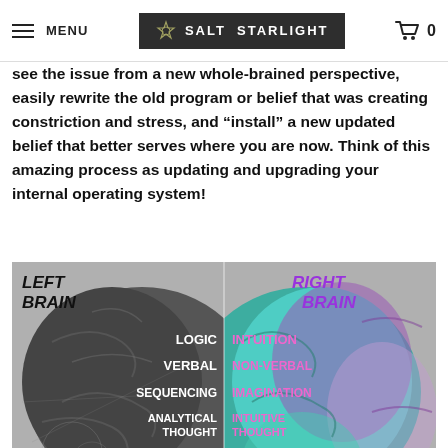MENU | SALT STARLIGHT | 0
see the issue from a new whole-brained perspective, easily rewrite the old program or belief that was creating constriction and stress, and “install” a new updated belief that better serves where you are now. Think of this amazing process as updating and upgrading your internal operating system!
[Figure (illustration): Left brain vs Right brain diagram. Left half shows a dark gray brain with white text labels: LOGIC, VERBAL, SEQUENCING, ANALYTICAL THOUGHT, MATH/SCIENCE, CAUTIOUS. Right half shows a colorful teal/purple brain with pink text labels: INTUITION, NON-VERBAL, IMAGINATION, INTUITIVE THOUGHT, WRITING/ART, IMPULSE. Header labels: LEFT BRAIN (dark, italic) and RIGHT BRAIN (purple, italic).]